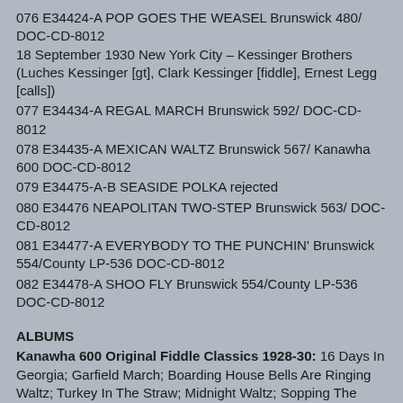076 E34424-A POP GOES THE WEASEL Brunswick 480/ DOC-CD-8012
18 September 1930 New York City – Kessinger Brothers (Luches Kessinger [gt], Clark Kessinger [fiddle], Ernest Legg [calls])
077 E34434-A REGAL MARCH Brunswick 592/ DOC-CD-8012
078 E34435-A MEXICAN WALTZ Brunswick 567/ Kanawha 600 DOC-CD-8012
079 E34475-A-B SEASIDE POLKA rejected
080 E34476 NEAPOLITAN TWO-STEP Brunswick 563/ DOC-CD-8012
081 E34477-A EVERYBODY TO THE PUNCHIN' Brunswick 554/County LP-536 DOC-CD-8012
082 E34478-A SHOO FLY Brunswick 554/County LP-536 DOC-CD-8012
ALBUMS
Kanawha 600 Original Fiddle Classics 1928-30: 16 Days In Georgia; Garfield March; Boarding House Bells Are Ringing Waltz; Turkey In The Straw; Midnight Waltz; Sopping The Gravy; Don't Let Your Deal Go Down; Mississippi